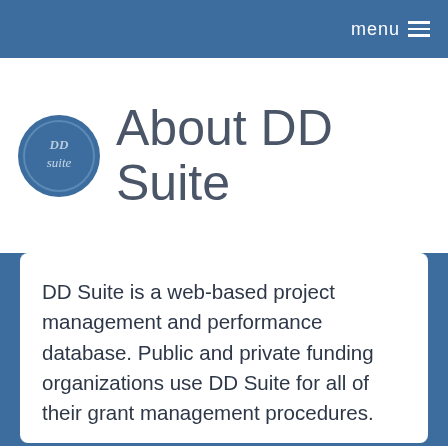menu ≡
[Figure (logo): DD Suite circular logo with 'suite' text in the center on a dark blue background]
About DD Suite
DD Suite is a web-based project management and performance database. Public and private funding organizations use DD Suite for all of their grant management procedures.